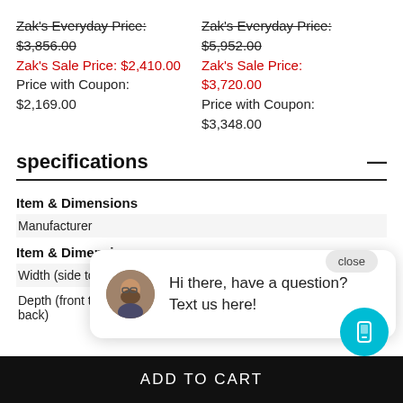Zak's Everyday Price: $3,856.00
Zak's Sale Price: $2,410.00
Price with Coupon: $2,169.00
Zak's Everyday Price: $5,952.00
Zak's Sale Price: $3,720.00
Price with Coupon: $3,348.00
specifications
Item & Dimensions
Manufacturer
Item & Dimensions
Width (side to s...
Depth (front to back)	17" D
[Figure (screenshot): Chat popup with avatar photo of a man with beard and glasses, text: Hi there, have a question? Text us here!]
close
ADD TO CART